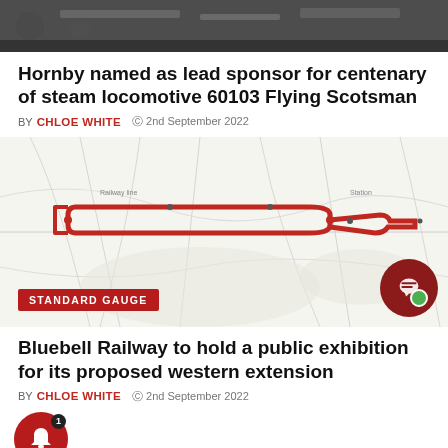[Figure (photo): Dark top image, likely a steam locomotive photo, partially visible at the top]
Hornby named as lead sponsor for centenary of steam locomotive 60103 Flying Scotsman
BY CHLOE WHITE  © 2nd September 2022
[Figure (map): Map showing a railway route with a red line/outline overlay highlighting the track path]
STANDARD GAUGE
Bluebell Railway to hold a public exhibition for its proposed western extension
BY CHLOE WHITE  © 2nd September 2022